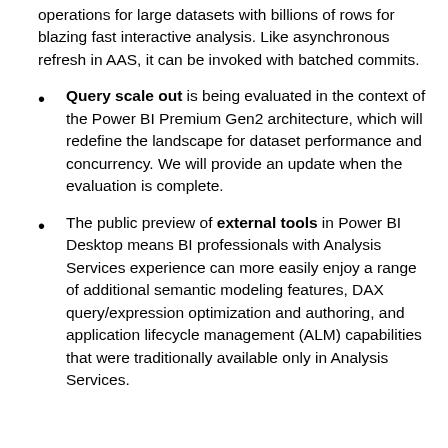operations for large datasets with billions of rows for blazing fast interactive analysis. Like asynchronous refresh in AAS, it can be invoked with batched commits.
Query scale out is being evaluated in the context of the Power BI Premium Gen2 architecture, which will redefine the landscape for dataset performance and concurrency. We will provide an update when the evaluation is complete.
The public preview of external tools in Power BI Desktop means BI professionals with Analysis Services experience can more easily enjoy a range of additional semantic modeling features, DAX query/expression optimization and authoring, and application lifecycle management (ALM) capabilities that were traditionally available only in Analysis Services.